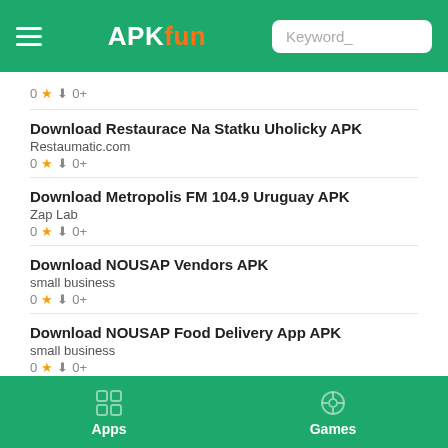APKfun — header with hamburger menu, logo, and search box
0 ★ ↓ 0+
Download Restaurace Na Statku Uholicky APK
Restaumatic.com
0 ★ ↓ 0+
Download Metropolis FM 104.9 Uruguay APK
Zap Lab
0 ★ ↓ 0+
Download NOUSAP Vendors APK
small business
0 ★ ↓ 0+
Download NOUSAP Food Delivery App APK
small business
0 ★ ↓ 0+
Apps | Games